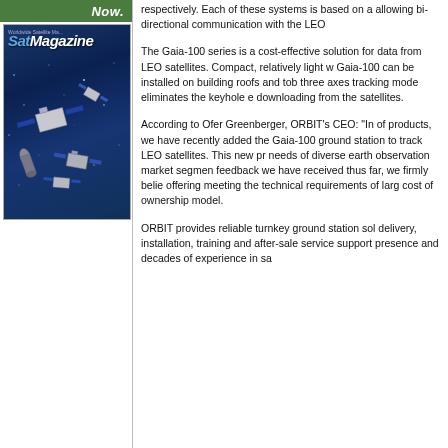[Figure (photo): SatMagazine cover image showing satellites in space with text 'Now.' in white italic on a green bar at the top]
respectively. Each of these systems is based on a allowing bi-directional communication with the LEO
The Gaia-100 series is a cost-effective solution for data from LEO satellites. Compact, relatively light w Gaia-100 can be installed on building roofs and tob three axes tracking mode eliminates the keyhole e downloading from the satellites.
According to Ofer Greenberger, ORBIT's CEO: "In of products, we have recently added the Gaia-100 ground station to track LEO satellites. This new pr needs of diverse earth observation market segmen feedback we have received thus far, we firmly belie offering meeting the technical requirements of larg cost of ownership model.
ORBIT provides reliable turnkey ground station sol delivery, installation, training and after-sale service support presence and decades of experience in sa